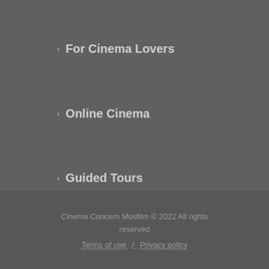For Cinema Lovers
Online Cinema
Guided Tours
Cinema Concern Mosfilm © 2022 All rights reserved
Terms of use / Privacy policy